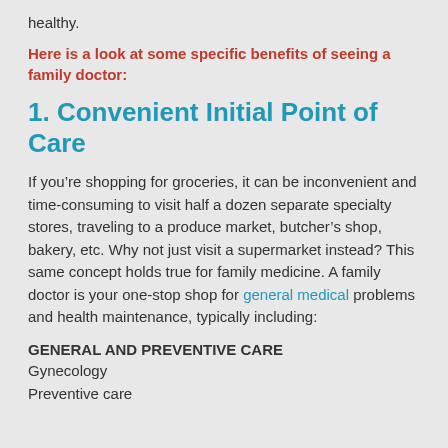healthy.
Here is a look at some specific benefits of seeing a family doctor:
1. Convenient Initial Point of Care
If you’re shopping for groceries, it can be inconvenient and time-consuming to visit half a dozen separate specialty stores, traveling to a produce market, butcher’s shop, bakery, etc. Why not just visit a supermarket instead? This same concept holds true for family medicine. A family doctor is your one-stop shop for general medical problems and health maintenance, typically including:
GENERAL AND PREVENTIVE CARE
Gynecology
Preventive care